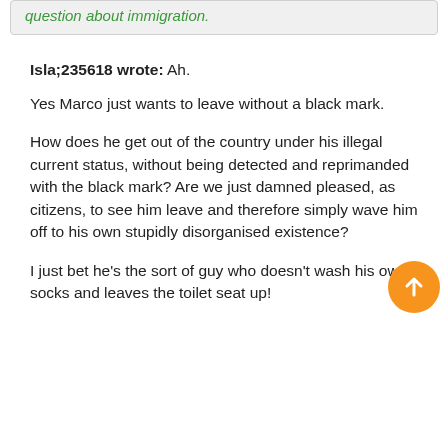question about immigration.
Isla;235618 wrote: Ah.

Yes Marco just wants to leave without a black mark.

How does he get out of the country under his illegal current status, without being detected and reprimanded with the black mark? Are we just damned pleased, as citizens, to see him leave and therefore simply wave him off to his own stupidly disorganised existence?

I just bet he's the sort of guy who doesn't wash his own socks and leaves the toilet seat up!